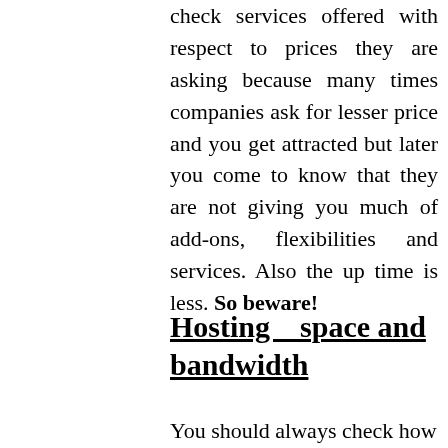check services offered with respect to prices they are asking because many times companies ask for lesser price and you get attracted but later you come to know that they are not giving you much of add-ons, flexibilities and services. Also the up time is less. So beware!
Hosting   space and bandwidth
You should always check how